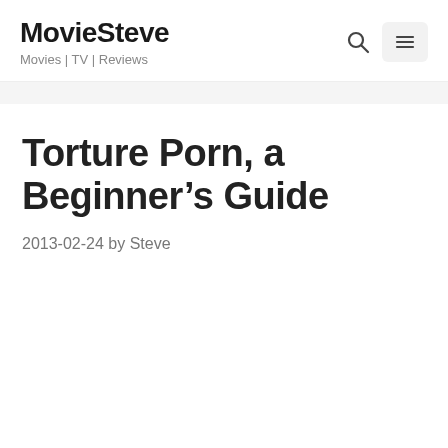MovieSteve — Movies | TV | Reviews
Torture Porn, a Beginner's Guide
2013-02-24 by Steve